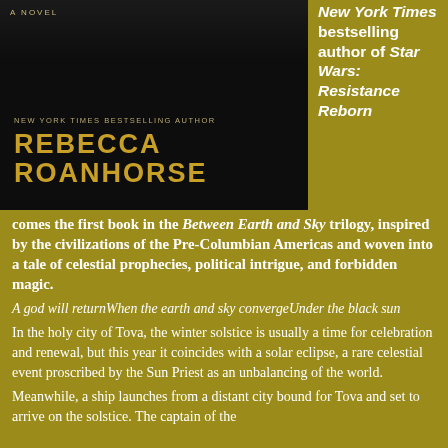[Figure (illustration): Book cover showing black background with gold author name 'REBECCA ROANHORSE' and subtitle 'NEW YORK TIMES BESTSELLING AUTHOR', with 'A NOVEL' at top. A partial face with crescent moon is visible at the top.]
New York Times bestselling author of Star Wars: Resistance Reborn comes the first book in the Between Earth and Sky trilogy, inspired by the civilizations of the Pre-Columbian Americas and woven into a tale of celestial prophecies, political intrigue, and forbidden magic.
A god will returnWhen the earth and sky convergeUnder the black sun
In the holy city of Tova, the winter solstice is usually a time for celebration and renewal, but this year it coincides with a solar eclipse, a rare celestial event proscribed by the Sun Priest as an unbalancing of the world.
Meanwhile, a ship launches from a distant city bound for Tova and set to arrive on the solstice. The captain of the